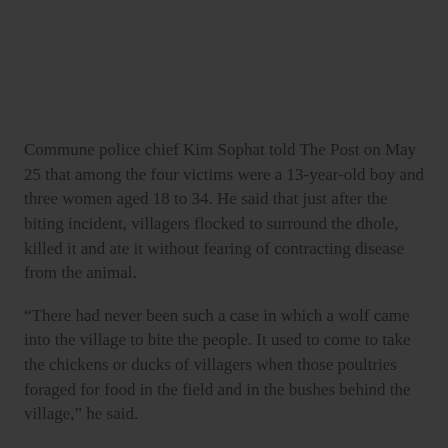Commune police chief Kim Sophat told The Post on May 25 that among the four victims were a 13-year-old boy and three women aged 18 to 34. He said that just after the biting incident, villagers flocked to surround the dhole, killed it and ate it without fearing of contracting disease from the animal.
“There had never been such a case in which a wolf came into the village to bite the people. It used to come to take the chickens or ducks of villagers when those poultries foraged for food in the field and in the bushes behind the village,” he said.
Yort Sa Em, one of the victims, said she was attacked on the knee and hand at 5am when she got down from her house to cook before leaving for her rice field. When she was cooking, a male dhole just attacked her.
“It came to bite me and I was in improvisation beat it with my hand. Then it came to by my leg on the upper of the k♥. I took